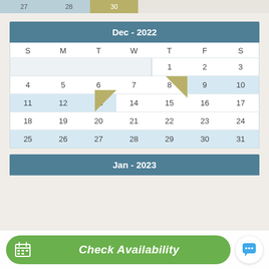[Figure (screenshot): Partial top strip showing previous month calendar row with blue highlighted cells]
| S | M | T | W | T | F | S |
| --- | --- | --- | --- | --- | --- | --- |
|  |  |  |  | 1 | 2 | 3 |
| 4 | 5 | 6 | 7 | 8 | 9 | 10 |
| 11 | 12 | 13 | 14 | 15 | 16 | 17 |
| 18 | 19 | 20 | 21 | 22 | 23 | 24 |
| 25 | 26 | 27 | 28 | 29 | 30 | 31 |
Jan - 2023
Check Availability